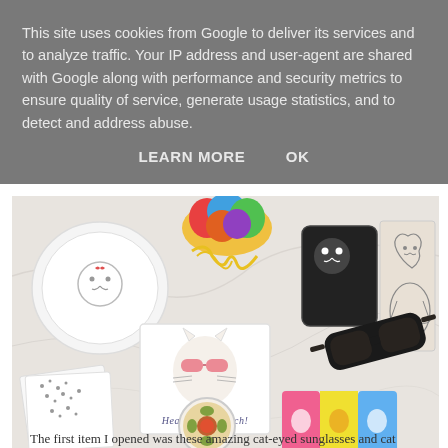This site uses cookies from Google to deliver its services and to analyze traffic. Your IP address and user-agent are shared with Google along with performance and security metrics to ensure quality of service, generate usage statistics, and to detect and address abuse.
LEARN MORE   OK
[Figure (photo): Flat lay photo on marble surface showing cat-themed items: a cat bowl, colorful pom-pom toy, black and white patterned fabric pieces, a card reading 'Head to the Beach!' with a cat in sunglasses, cat-print phone case, cat sunglasses case, cat illustration tea towel, cat-print eyeglass pouch, and a circular pin/badge.]
The first item I opened was these amazing cat-eyed sunglasses and cat print